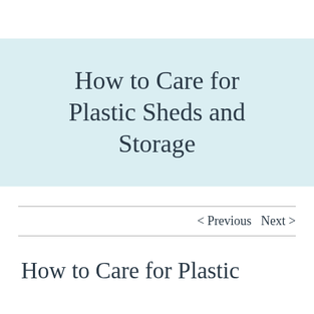How to Care for Plastic Sheds and Storage
< Previous   Next >
How to Care for Plastic